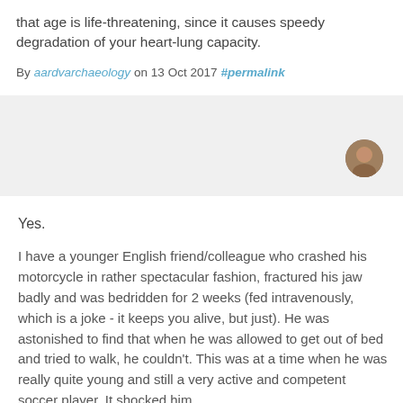that age is life-threatening, since it causes speedy degradation of your heart-lung capacity.
By aardvarchaeology on 13 Oct 2017 #permalink
[Figure (photo): Small circular avatar photo of a person]
Yes.
I have a younger English friend/colleague who crashed his motorcycle in rather spectacular fashion, fractured his jaw badly and was bedridden for 2 weeks (fed intravenously, which is a joke - it keeps you alive, but just). He was astonished to find that when he was allowed to get out of bed and tried to walk, he couldn't. This was at a time when he was really quite young and still a very active and competent soccer player. It shocked him.
Being bedridden for any reason for any length of time, and you rapidly deteriorate physically in all kinds of ways to say the very most, that it'll...